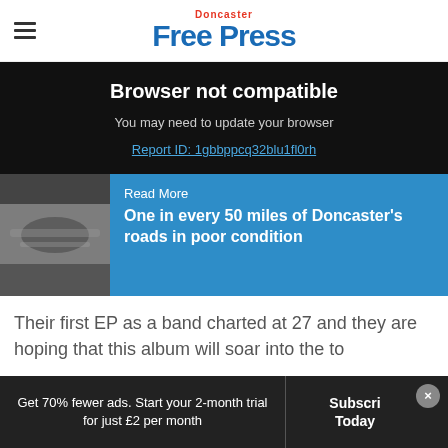Doncaster Free Press
Browser not compatible
You may need to update your browser
Report ID: 1gbbppcq32blu1fl0rh
[Figure (photo): Blurred close-up photo of a road surface showing poor condition/pothole]
Read More
One in every 50 miles of Doncaster's roads in poor condition
Their first EP as a band charted at 27 and they are hoping that this album will soar into the to
Get 70% fewer ads. Start your 2-month trial for just £2 per month
Subscribe Today